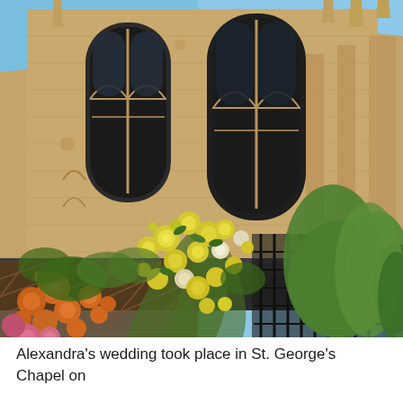[Figure (photo): Photograph of St. George's Chapel exterior, showing Gothic stone architecture with tall lancet windows, decorative spires and buttresses, a low dark-roofed outbuilding in the foreground, and colorful climbing roses (yellow, orange, and pink) in full bloom cascading over the entrance area. Blue sky visible in the upper portion.]
Alexandra's wedding took place in St. George's Chapel on